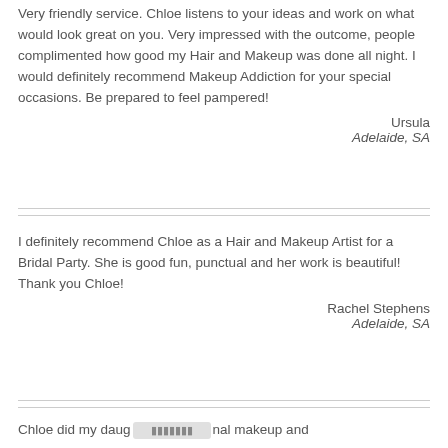Very friendly service. Chloe listens to your ideas and work on what would look great on you. Very impressed with the outcome, people complimented how good my Hair and Makeup was done all night. I would definitely recommend Makeup Addiction for your special occasions. Be prepared to feel pampered!
Ursula
Adelaide, SA
I definitely recommend Chloe as a Hair and Makeup Artist for a Bridal Party. She is good fun, punctual and her work is beautiful! Thank you Chloe!
Rachel Stephens
Adelaide, SA
Chloe did my daug... nal makeup and